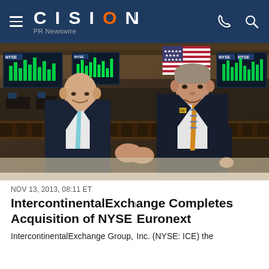CISION PR Newswire
[Figure (photo): Two men in business suits standing on the NYSE trading floor balcony, shaking hands. American flag visible in background along with NYSE trading screens showing green bar charts. One man wears a light blue tie, the other an orange/blue patterned tie.]
NOV 13, 2013, 08:11 ET
IntercontinentalExchange Completes Acquisition of NYSE Euronext
IntercontinentalExchange Group, Inc. (NYSE: ICE) the